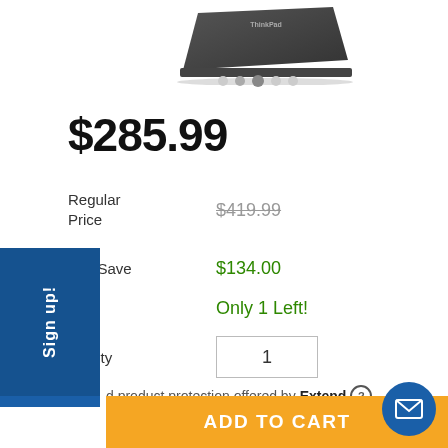[Figure (photo): ThinkPad laptop product image, top/corner view, dark gray, shown from above]
$285.99
Regular Price  $419.99
You Save  $134.00
Status  Only 1 Left!
Quantity  1
d product protection offered by Extend (?)
| 1 Year | 2 Year | 3 Year |
| --- | --- | --- |
| $28.99 | $54.99 | $74.99 |
ADD TO CART